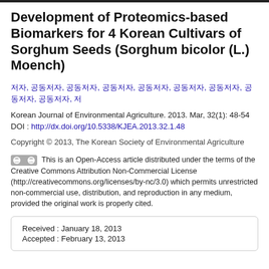Development of Proteomics-based Biomarkers for 4 Korean Cultivars of Sorghum Seeds (Sorghum bicolor (L.) Moench)
저자, 공동저자 등 (Korean author names)
Korean Journal of Environmental Agriculture. 2013. Mar, 32(1): 48-54
DOI : http://dx.doi.org/10.5338/KJEA.2013.32.1.48
Copyright © 2013, The Korean Society of Environmental Agriculture
This is an Open-Access article distributed under the terms of the Creative Commons Attribution Non-Commercial License (http://creativecommons.org/licenses/by-nc/3.0) which permits unrestricted non-commercial use, distribution, and reproduction in any medium, provided the original work is properly cited.
Received : January 18, 2013
Accepted : February 13, 2013